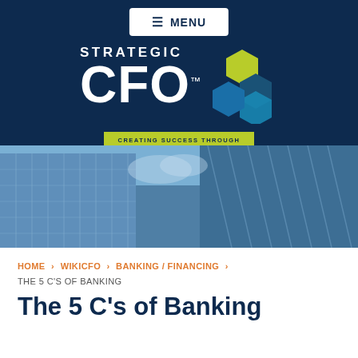☰ MENU
[Figure (logo): Strategic CFO logo with hexagon cluster graphic and tagline 'Creating Success Through Financial Leadership' on dark navy background]
[Figure (photo): Upward-angle photograph of modern glass skyscraper buildings against a blue sky]
HOME > WIKICFO > BANKING / FINANCING > THE 5 C'S OF BANKING
The 5 C's of Banking